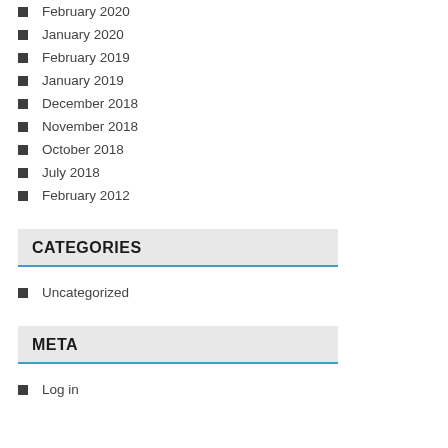February 2020
January 2020
February 2019
January 2019
December 2018
November 2018
October 2018
July 2018
February 2012
CATEGORIES
Uncategorized
META
Log in